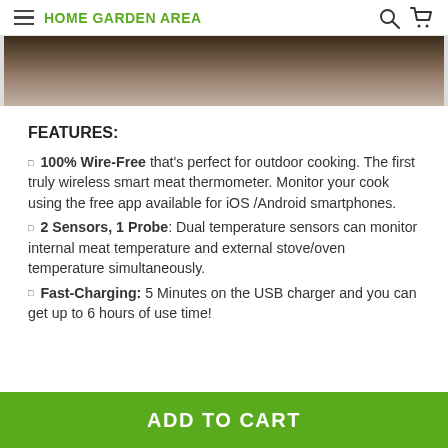HOME GARDEN AREA
[Figure (photo): Close-up photo of food/meat on a wooden surface, partially visible at top of page]
FEATURES:
100% Wire-Free that's perfect for outdoor cooking. The first truly wireless smart meat thermometer. Monitor your cook using the free app available for iOS /Android smartphones.
2 Sensors, 1 Probe: Dual temperature sensors can monitor internal meat temperature and external stove/oven temperature simultaneously.
Fast-Charging: 5 Minutes on the USB charger and you can get up to 6 hours of use time!
ADD TO CART